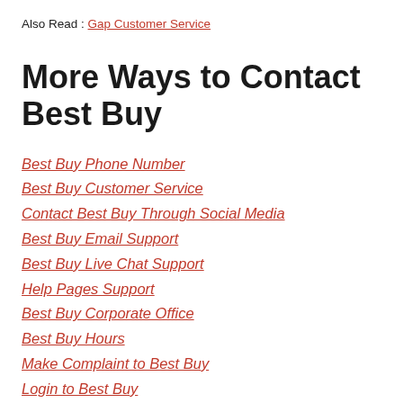Also Read : Gap Customer Service
More Ways to Contact Best Buy
Best Buy Phone Number
Best Buy Customer Service
Contact Best Buy Through Social Media
Best Buy Email Support
Best Buy Live Chat Support
Help Pages Support
Best Buy Corporate Office
Best Buy Hours
Make Complaint to Best Buy
Login to Best Buy